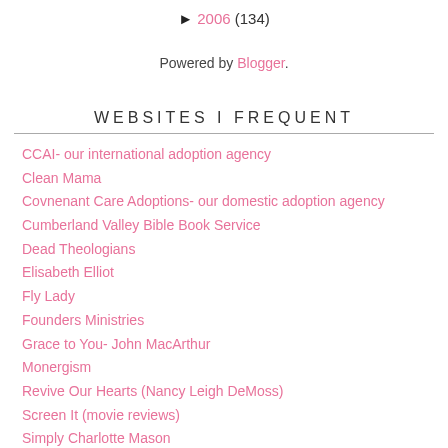► 2006 (134)
Powered by Blogger.
WEBSITES I FREQUENT
CCAI- our international adoption agency
Clean Mama
Covnenant Care Adoptions- our domestic adoption agency
Cumberland Valley Bible Book Service
Dead Theologians
Elisabeth Elliot
Fly Lady
Founders Ministries
Grace to You- John MacArthur
Monergism
Revive Our Hearts (Nancy Leigh DeMoss)
Screen It (movie reviews)
Simply Charlotte Mason